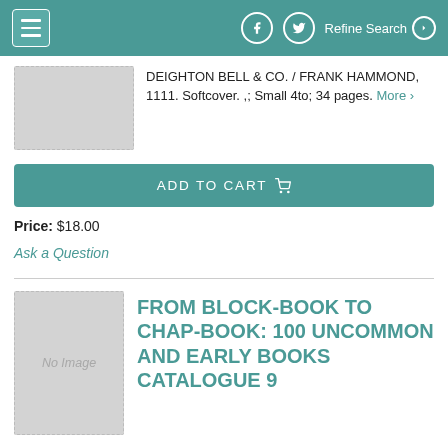☰  🌐 🐦  Refine Search ▶
DEIGHTON BELL & CO. / FRANK HAMMOND, 1111. Softcover. ,; Small 4to; 34 pages. More
ADD TO CART
Price: $18.00
Ask a Question
[Figure (illustration): No Image placeholder for a book cover]
FROM BLOCK-BOOK TO CHAP-BOOK: 100 UNCOMMON AND EARLY BOOKS CATALOGUE 9